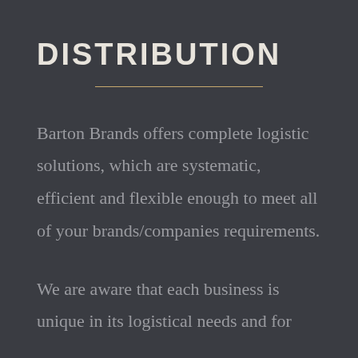DISTRIBUTION
Barton Brands offers complete logistic solutions, which are systematic, efficient and flexible enough to meet all of your brands/companies requirements.
We are aware that each business is unique in its logistical needs and for